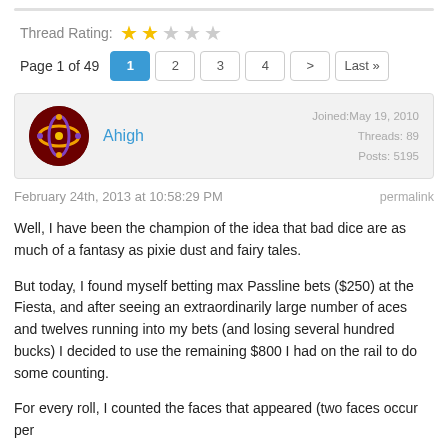Thread Rating: ★★☆☆☆
Page 1 of 49  1  2  3  4  >  Last »
Ahigh
Joined: May 19, 2010
Threads: 89
Posts: 5195
February 24th, 2013 at 10:58:29 PM  permalink
Well, I have been the champion of the idea that bad dice are as much of a fantasy as pixie dust and fairy tales.
But today, I found myself betting max Passline bets ($250) at the Fiesta, and after seeing an extraordinarily large number of aces and twelves running into my bets (and losing several hundred bucks) I decided to use the remaining $800 I had on the rail to do some counting.
For every roll, I counted the faces that appeared (two faces occur per